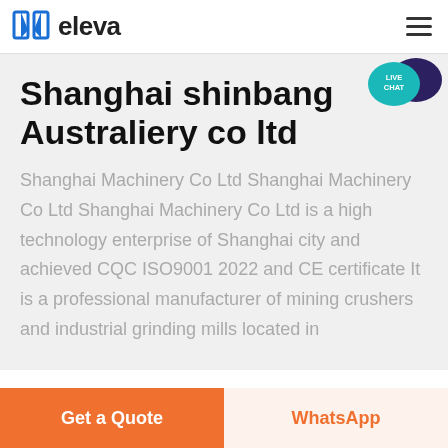eleva
[Figure (logo): Eleva logo with two blue book/door shapes and bold text 'eleva']
Shanghai shinbang Australiery co ltd
Shanghai Machinery Co Ltd Shanghai Machinery Co Ltd Shanghai Machinery Co Ltd is a high technology enterprise of Shanghai city and achieved CQC ISO9001 2022 and CE certificate It is a professional manufacturer of mining crushers and industrial grinding mills located in